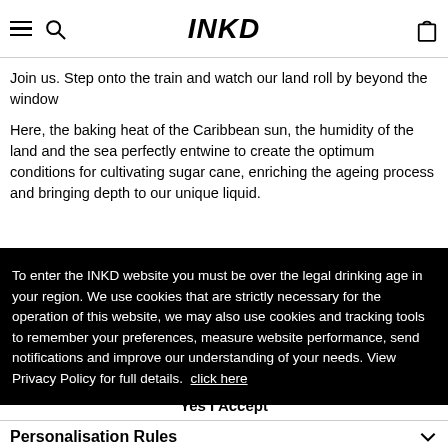INKD — navigation bar with hamburger menu, search icon, logo, and bag icon
Join us. Step onto the train and watch our land roll by beyond the window
Here, the baking heat of the Caribbean sun, the humidity of the land and the sea perfectly entwine to create the optimum conditions for cultivating sugar cane, enriching the ageing process and bringing depth to our unique liquid.
To enter the INKD website you must be over the legal drinking age in your region. We use cookies that are strictly necessary for the operation of this website, we may also use cookies and tracking tools to remember your preferences, measure website performance, send notifications and improve our understanding of your needs. View Privacy Policy for full details.  click here
Yes I Accept
Personalisation Rules